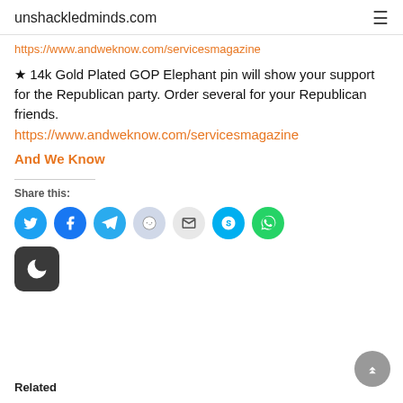unshackledminds.com
https://www.andweknow.com/servicesmagazine
★ 14k Gold Plated GOP Elephant pin will show your support for the Republican party. Order several for your Republican friends.
https://www.andweknow.com/servicesmagazine
And We Know
Share this:
[Figure (infographic): Social share icons: Twitter (blue), Facebook (blue), Telegram (blue), Reddit (light blue), Email (grey), Skype (blue), WhatsApp (green), and a dark mode toggle button]
Related